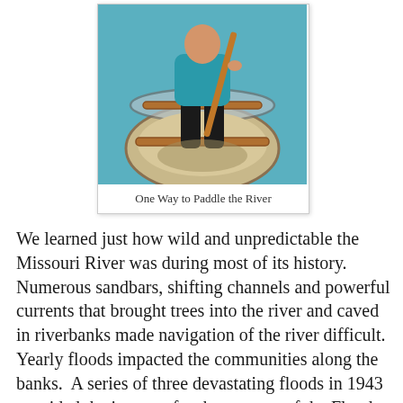[Figure (photo): A person sitting in a canoe holding a paddle, viewed from the front. The canoe is tan/beige colored with wooden crossbars. The person is wearing a teal shirt and black pants. Blue water or background is visible behind them.]
One Way to Paddle the River
We learned just how wild and unpredictable the Missouri River was during most of its history. Numerous sandbars, shifting channels and powerful currents that brought trees into the river and caved in riverbanks made navigation of the river difficult.  Yearly floods impacted the communities along the banks.  A series of three devastating floods in 1943 provided the impetus for the passage of the Flood Control Act of 1944.  It was this law that led to the